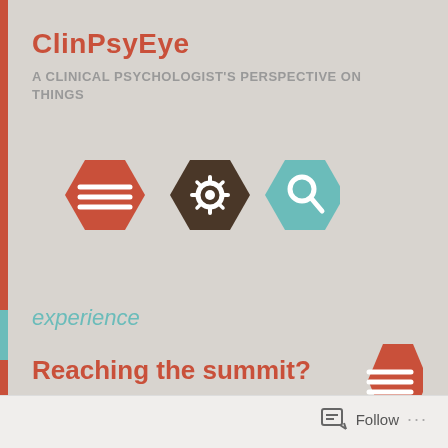ClinPsyEye
A CLINICAL PSYCHOLOGIST'S PERSPECTIVE ON THINGS
[Figure (infographic): Three hexagon icons: red with menu lines, dark brown with gear/cog, teal with magnifying glass]
experience
Reaching the summit?
[Figure (infographic): Red hexagon with menu lines icon, bottom right area]
Follow